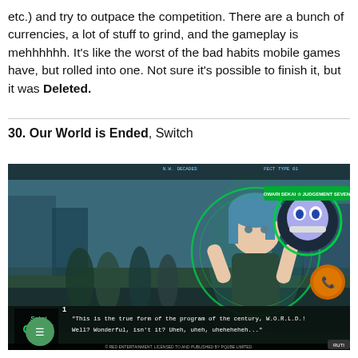etc.) and try to outpace the competition. There are a bunch of currencies, a lot of stuff to grind, and the gameplay is mehhhhhh. It's like the worst of the bad habits mobile games have, but rolled into one. Not sure it's possible to finish it, but it was Deleted.
30. Our World is Ended, Switch
[Figure (screenshot): Screenshot of the game 'Our World is Ended' (Sekai Owari) on Nintendo Switch, showing an anime-style blue-haired girl character in a city street. UI elements visible including character portrait with green circle, orange phone icon, and dialogue text reading: "This is the true form of the program of the century, W.O.R.L.D.! Well? Wonderful, isn't it? Uheh, uheh, uheheheheh..." Copyright text: RED ENTERTAINMENT. LICENSED TO AND PUBLISHED BY PQUBE LIMITED.]